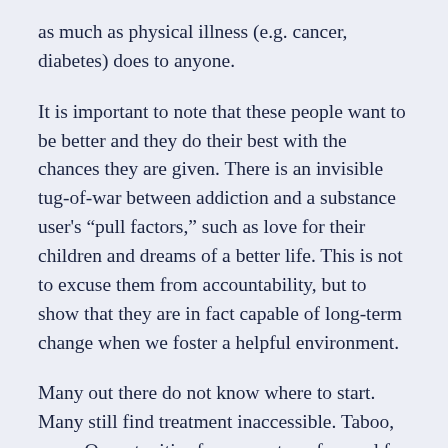as much as physical illness (e.g. cancer, diabetes) does to anyone.
It is important to note that these people want to be better and they do their best with the chances they are given. There is an invisible tug-of-war between addiction and a substance user's “pull factors,” such as love for their children and dreams of a better life. This is not to excuse them from accountability, but to show that they are in fact capable of long-term change when we foster a helpful environment.
Many out there do not know where to start. Many still find treatment inaccessible. Taboo, even. Opportunities for support are few and far between, and one is at risk of being killed in the drug war before even having a chance to